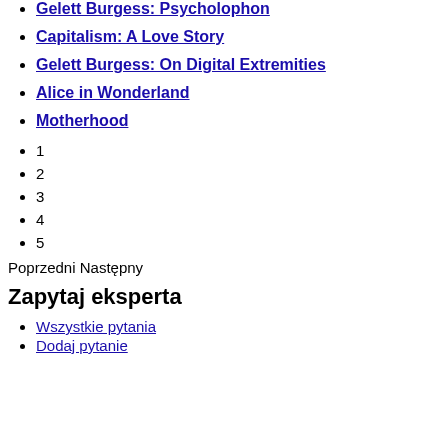Gelett Burgess: Psycholophon
Capitalism: A Love Story
Gelett Burgess: On Digital Extremities
Alice in Wonderland
Motherhood
1
2
3
4
5
Poprzedni Następny
Zapytaj eksperta
Wszystkie pytania
Dodaj pytanie